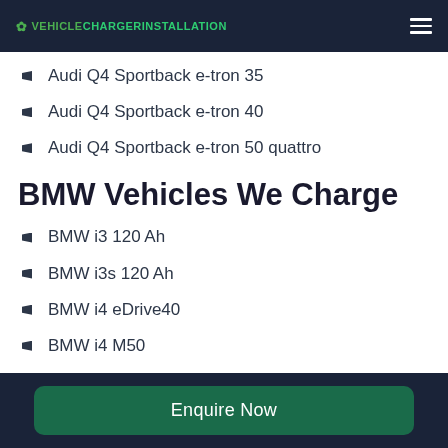VEHICLECHARGERINSTALLATION
Audi Q4 Sportback e-tron 35
Audi Q4 Sportback e-tron 40
Audi Q4 Sportback e-tron 50 quattro
BMW Vehicles We Charge
BMW i3 120 Ah
BMW i3s 120 Ah
BMW i4 eDrive40
BMW i4 M50
BMW iX M60
BMW iX xDrive 40
BMW iX xDrive 50
Enquire Now